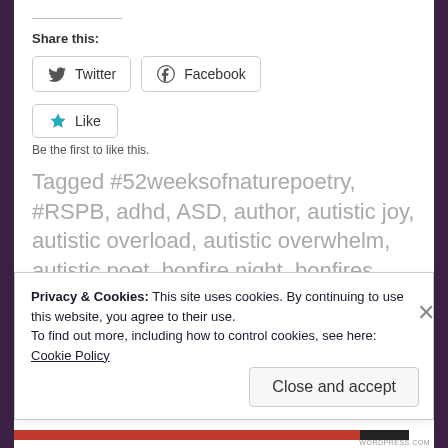Share this:
Twitter   Facebook
Like
Be the first to like this.
Tagged #52weeksofnaturepoetry, #RSPB, adhd, ASD, author, autistic joy, autistic overload, autistic overwhelm, autistic poet, bonfire night, bonfires, British wildlife, camouflage, charity,
Privacy & Cookies: This site uses cookies. By continuing to use this website, you agree to their use.
To find out more, including how to control cookies, see here:
Cookie Policy
Close and accept